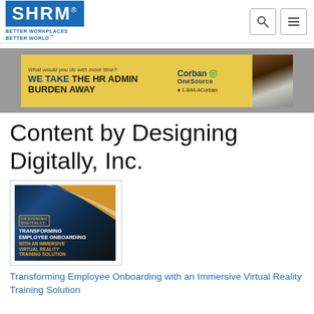[Figure (logo): SHRM logo with tagline BETTER WORKPLACES BETTER WORLD]
[Figure (infographic): Corban OneSource advertisement banner: What would you do with more time? WE TAKE THE HR ADMIN BURDEN AWAY 1-844-4Corban]
Content by Designing Digitally, Inc.
[Figure (photo): Book cover: DESIGNING DIGITALLY - TRANSFORMING EMPLOYEE ONBOARDING WITH AN IMMERSIVE VIRTUAL REALITY TRAINING SOLUTION]
Transforming Employee Onboarding with an Immersive Virtual Reality Training Solution